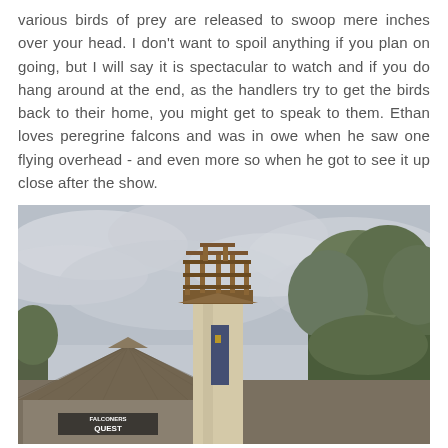various birds of prey are released to swoop mere inches over your head. I don't want to spoil anything if you plan on going, but I will say it is spectacular to watch and if you do hang around at the end, as the handlers try to get the birds back to their home, you might get to speak to them. Ethan loves peregrine falcons and was in owe when he saw one flying overhead - and even more so when he got to see it up close after the show.
[Figure (photo): Outdoor photo showing a medieval-style tower structure with wooden scaffolding at the top, a thatched-roof building visible at the lower left with a sign reading 'Falconers Quest', surrounded by trees under an overcast grey sky.]